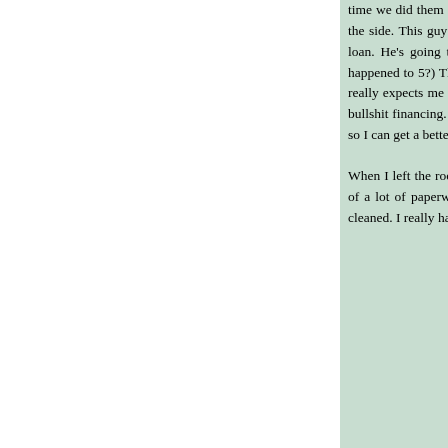time we did them 3 weeks ago. I get called into the senior finance guy's office. Dan is also in the room and sits in a chair off to the side. This guy is old and talks fast. He shows me what he's been doing on his flatscreen monitor. He's trying to find me a loan. He's going through some website and they're offering me 12 percent loans because of my limited credit. (12? What happened to 5?) The next hour is a blur because of the amount of information that came out of his mouth. I can't believe that he really expects me to have understood everything. I wonder if he said all of that just to throw me off so he could offer me some bullshit financing. I just don't know. I think the good news is that there's no penalty to paying the loan off completely tomorrow, so I can get a better loan to pay off that loan and only deal with the second one at a lower rate. Maybe.
When I left the room, I was very uneasy and yet relieved that it was over. Somehow, I came out of there with a loan and copies of a lot of paperwork I signed. Next I had to wait while the car's VIN was etched in all the glass windows and the car was cleaned. I really had to be out of there by 4 or 4:30 because I had to